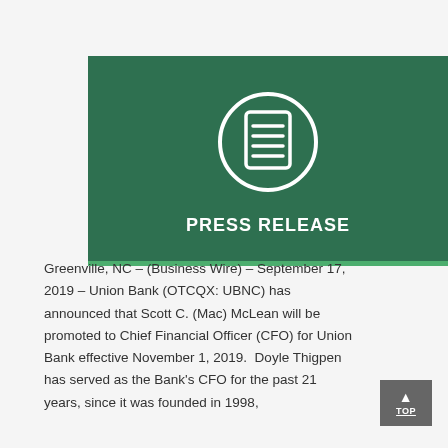[Figure (illustration): Dark green banner image with a white document/press release icon (circle with lines resembling a document) and the text PRESS RELEASE in bold white capital letters, with a thin bright green bottom border.]
Greenville, NC – (Business Wire) – September 17, 2019 – Union Bank (OTCQX: UBNC) has announced that Scott C. (Mac) McLean will be promoted to Chief Financial Officer (CFO) for Union Bank effective November 1, 2019.  Doyle Thigpen has served as the Bank's CFO for the past 21 years, since it was founded in 1998,